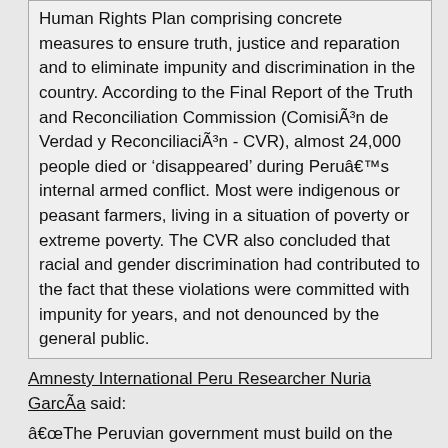Human Rights Plan comprising concrete measures to ensure truth, justice and reparation and to eliminate impunity and discrimination in the country. According to the Final Report of the Truth and Reconciliation Commission (Comisión de Verdad y Reconciliación - CVR), almost 24,000 people died or 'disappeared' during Peru's internal armed conflict. Most were indigenous or peasant farmers, living in a situation of poverty or extreme poverty. The CVR also concluded that racial and gender discrimination had contributed to the fact that these violations were committed with impunity for years, and not denounced by the general public.
Amnesty International Peru Researcher Nuria García said:
"The Peruvian government must build on the progress made by the CVR in the fight against impunity in terms of the 43 cases presented to the Government Attorney's Office.